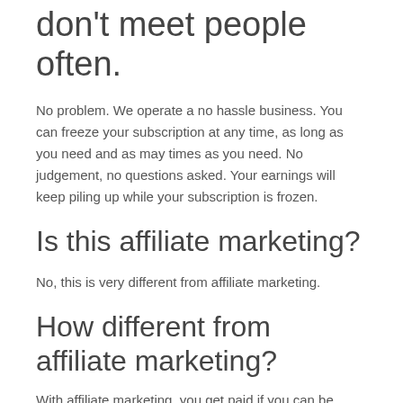don't meet people often.
No problem. We operate a no hassle business. You can freeze your subscription at any time, as long as you need and as may times as you need. No judgement, no questions asked. Your earnings will keep piling up while your subscription is frozen.
Is this affiliate marketing?
No, this is very different from affiliate marketing.
How different from affiliate marketing?
With affiliate marketing, you get paid if you can be identified as the person that directed the customer to the website. Otherwise, tough luck! With nosystems Partnership program, however, you get paid regardless. No hassles.